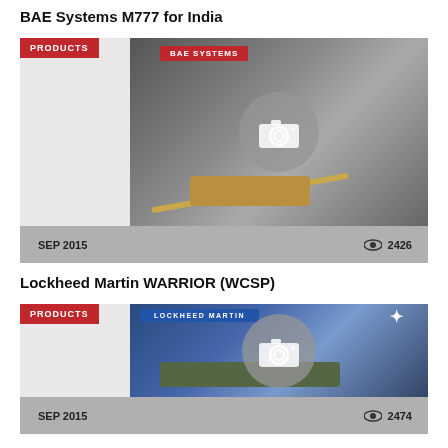BAE Systems M777 for India
[Figure (photo): BAE Systems M777 artillery piece at a defense exhibition, with PRODUCTS badge and camera overlay icon. Footer shows SEP 2015 and 2426 views.]
Lockheed Martin WARRIOR (WCSP)
[Figure (photo): Lockheed Martin WARRIOR armored vehicle at a defense exhibition, with PRODUCTS badge and camera overlay icon. Footer shows SEP 2015 and 2474 views.]